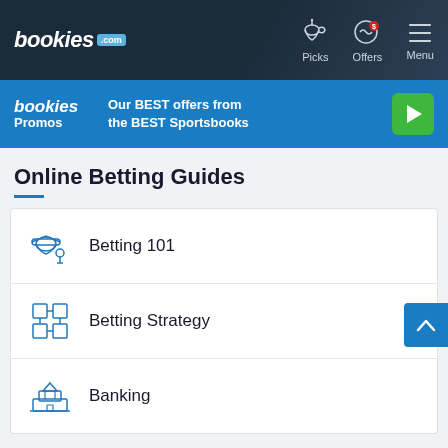[Figure (logo): bookies.com logo in top navigation bar]
Picks
Offers
Menu
[Figure (infographic): bookies Promos banner - Our BEST offers from the BEST Sportsbooks with play button]
Online Betting Guides
Betting 101
Betting Strategy
Banking
Sports Betting Calculators